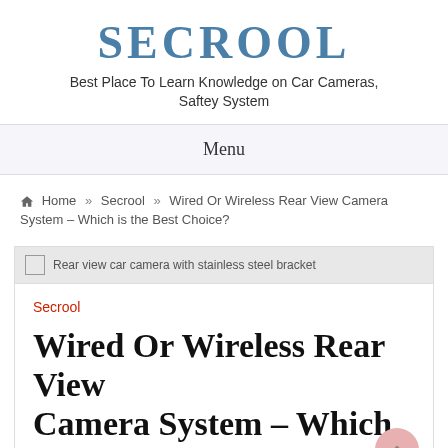SECROOL
Best Place To Learn Knowledge on Car Cameras, Saftey System
Menu
🏠 Home » Secrool » Wired Or Wireless Rear View Camera System – Which is the Best Choice?
Rear view car camera with stainless steel bracket
Secrool
Wired Or Wireless Rear View Camera System – Which is the